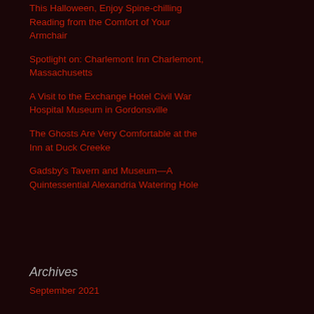This Halloween, Enjoy Spine-chilling Reading from the Comfort of Your Armchair
Spotlight on: Charlemont Inn Charlemont, Massachusetts
A Visit to the Exchange Hotel Civil War Hospital Museum in Gordonsville
The Ghosts Are Very Comfortable at the Inn at Duck Creeke
Gadsby's Tavern and Museum—A Quintessential Alexandria Watering Hole
Archives
September 2021